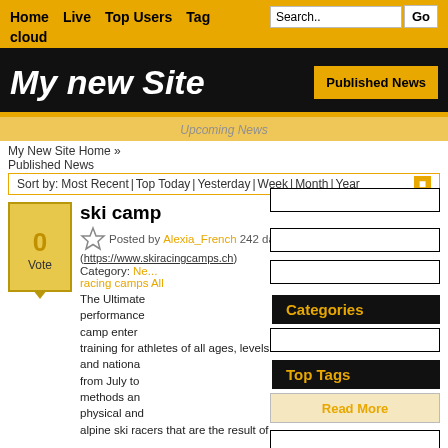Home  Live  Top Users  Tag  cloud  Search..  Go
My new Site
Published News
Upcoming News
My New Site Home » Published News
Sort by: Most Recent | Top Today | Yesterday | Week | Month | Year
ski camp
Posted by Alexia_French 242 days ago (https://www.skiracingcamps.ch)
Category: Ne... racing camps All
The Ultimate... performance... camp enter... training for athletes of all ages, levels and nationa... from July to... methods an... physical and alpine ski racers that are the result of
Categories
Top Tags
Read More